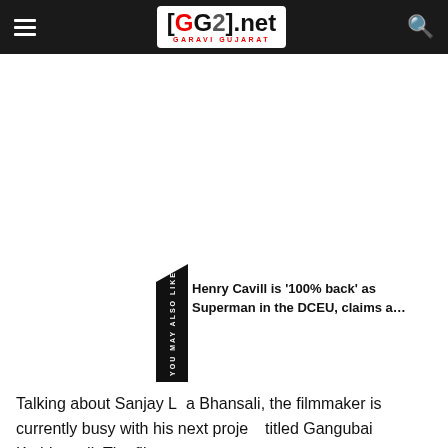GG2.net GARAVI GUJARAT
[Figure (screenshot): White advertisement space / blank area]
YOU MAY ALSO LIKE
Henry Cavill is '100% back' as Superman in the DCEU, claims a…
Talking about Sanjay L a Bhansali, the filmmaker is currently busy with his next proje  titled Gangubai Kathiawadi. The film